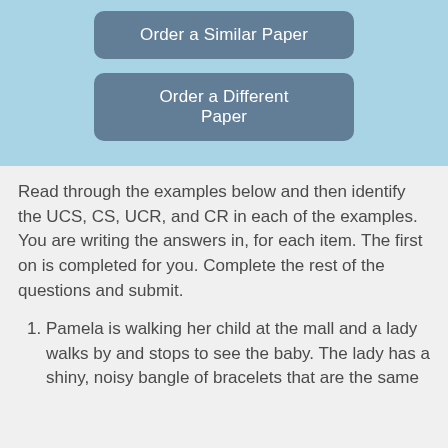[Figure (other): Two buttons on a light blue background: 'Order a Similar Paper' and 'Order a Different Paper']
Read through the examples below and then identify the UCS, CS, UCR, and CR in each of the examples. You are writing the answers in, for each item. The first on is completed for you. Complete the rest of the questions and submit.
Pamela is walking her child at the mall and a lady walks by and stops to see the baby. The lady has a shiny, noisy bangle of bracelets that are the same